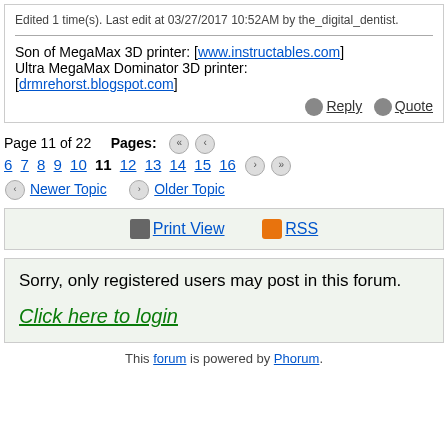Edited 1 time(s). Last edit at 03/27/2017 10:52AM by the_digital_dentist.
Son of MegaMax 3D printer: [www.instructables.com] Ultra MegaMax Dominator 3D printer: [drmrehorst.blogspot.com]
Reply   Quote
Page 11 of 22   Pages:  6 7 8 9 10 11 12 13 14 15 16
Newer Topic   Older Topic
Print View   RSS
Sorry, only registered users may post in this forum.
Click here to login
This forum is powered by Phorum.